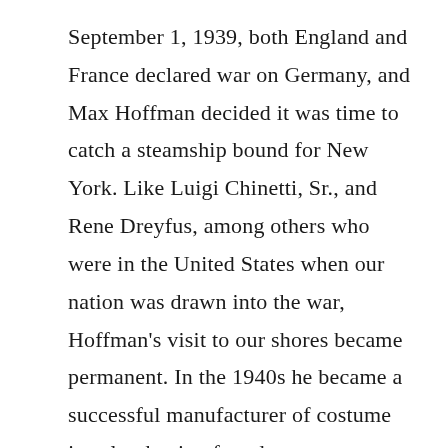September 1, 1939, both England and France declared war on Germany, and Max Hoffman decided it was time to catch a steamship bound for New York. Like Luigi Chinetti, Sr., and Rene Dreyfus, among others who were in the United States when our nation was drawn into the war, Hoffman's visit to our shores became permanent. In the 1940s he became a successful manufacturer of costume jewelry, having found a way to produce elegant and affordable bobbles made out of metal-plated plastic. His first week in business, Hoffman booked $5,000 in orders! By the time the war was over in